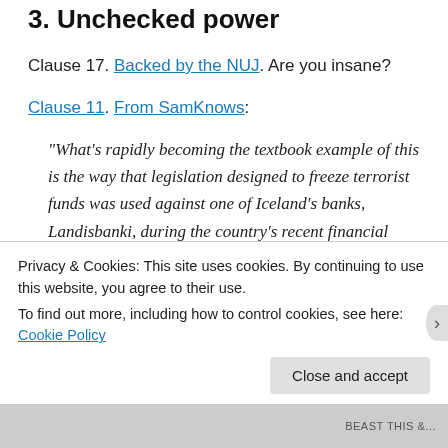3. Unchecked power
Clause 17. Backed by the NUJ. Are you insane?
Clause 11. From SamKnows:
“What’s rapidly becoming the textbook example of this is the way that legislation designed to freeze terrorist funds was used against one of Iceland’s banks, Landisbanki, during the country’s recent financial crisis.
“[Francis Davey, a practising barrister and legal advisor,
Privacy & Cookies: This site uses cookies. By continuing to use this website, you agree to their use.
To find out more, including how to control cookies, see here: Cookie Policy
Close and accept